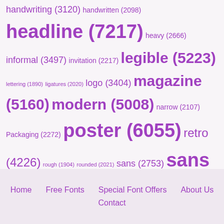handwriting (3120) handwritten (2098) headline (7217) heavy (2666) informal (3497) invitation (2217) legible (5223) lettering (1890) ligatures (2020) logo (3404) magazine (5160) modern (5008) narrow (2107) Packaging (2272) poster (6055) retro (4226) rough (1904) rounded (2021) sans (2753) sans serif (7212) script (4071) serif (4119) signage (1841) Text (2574) vintage (2977) wedding (1886)
Home  Free Fonts  Special Font Offers  About Us  Contact